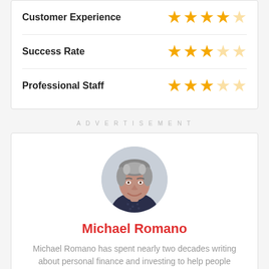Customer Experience — 4/5 stars
Success Rate — 3/5 stars
Professional Staff — 3/5 stars
ADVERTISEMENT
[Figure (photo): Circular portrait photo of Michael Romano, a middle-aged man with grey-streaked hair, smiling, wearing a dark patterned shirt]
Michael Romano
Michael Romano has spent nearly two decades writing about personal finance and investing to help people